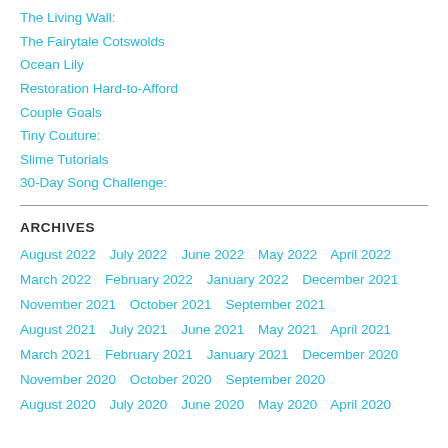The Living Wall:
The Fairytale Cotswolds
Ocean Lily
Restoration Hard-to-Afford
Couple Goals
Tiny Couture:
Slime Tutorials
30-Day Song Challenge:
ARCHIVES
August 2022   July 2022   June 2022   May 2022   April 2022   March 2022   February 2022   January 2022   December 2021   November 2021   October 2021   September 2021   August 2021   July 2021   June 2021   May 2021   April 2021   March 2021   February 2021   January 2021   December 2020   November 2020   October 2020   September 2020   August 2020   July 2020   June 2020   May 2020   April 2020